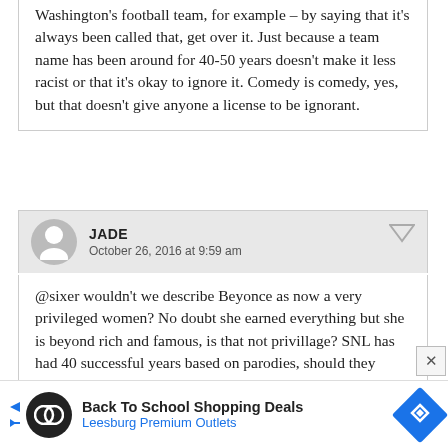Washington's football team, for example – by saying that it's always been called that, get over it. Just because a team name has been around for 40-50 years doesn't make it less racist or that it's okay to ignore it. Comedy is comedy, yes, but that doesn't give anyone a license to be ignorant.
JADE
October 26, 2016 at 9:59 am
@sixer wouldn't we describe Beyonce as now a very privileged women? No doubt she earned everything but she is beyond rich and famous, is that not privillage? SNL has had 40 successful years based on parodies, should they stop?
[Figure (infographic): Advertisement banner: Back To School Shopping Deals – Leesburg Premium Outlets]